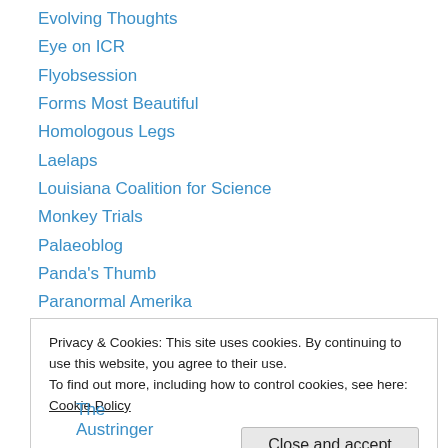Evolving Thoughts
Eye on ICR
Flyobsession
Forms Most Beautiful
Homologous Legs
Laelaps
Louisiana Coalition for Science
Monkey Trials
Palaeoblog
Panda's Thumb
Paranormal Amerika
Rationally Speaking
Recursivity
Privacy & Cookies: This site uses cookies. By continuing to use this website, you agree to their use.
To find out more, including how to control cookies, see here: Cookie Policy
Close and accept
The Austringer